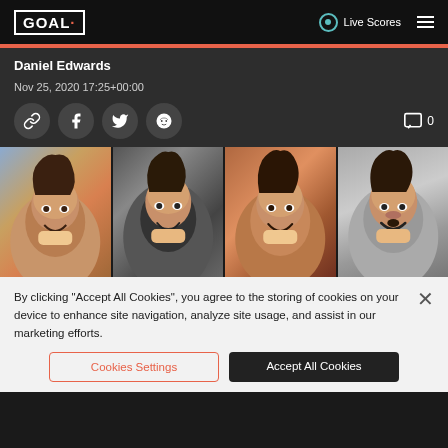GOAL | Live Scores
Daniel Edwards
Nov 25, 2020 17:25+00:00
[Figure (photo): Four side-by-side photos of Diego Maradona celebrating or smiling]
By clicking “Accept All Cookies”, you agree to the storing of cookies on your device to enhance site navigation, analyze site usage, and assist in our marketing efforts.
Cookies Settings | Accept All Cookies